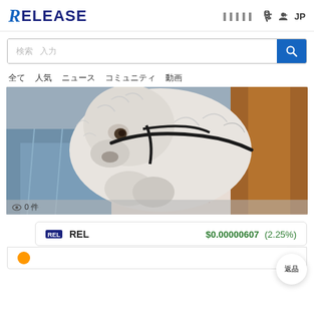RELEASE — header with logo, search icons, and JP label
検索入力フィールド
全て  人気  ニュース  コミュニティ  動画
[Figure (photo): A white dog with a harness resting on a person's lap on a couch with patterned fabric. View count: 0 件]
REL  $0.00000607  (2.25%)
Bottom partial row with orange icon